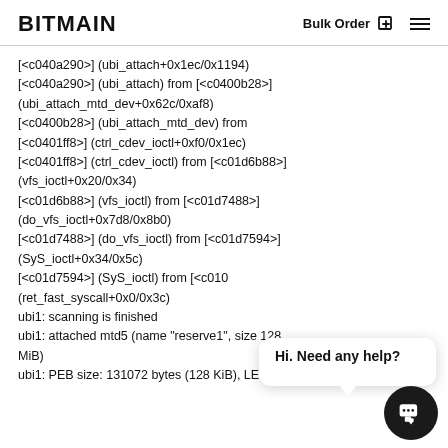BITMAIN   Bulk Order  ☰
[<c040a290>] (ubi_attach+0x1ec/0x1194)
[<c040a290>] (ubi_attach) from [<c0400b28>] (ubi_attach_mtd_dev+0x62c/0xaf8)
[<c0400b28>] (ubi_attach_mtd_dev) from [<c0401ff8>] (ctrl_cdev_ioctl+0xf0/0x1ec)
[<c0401ff8>] (ctrl_cdev_ioctl) from [<c01d6b88>] (vfs_ioctl+0x20/0x34)
[<c01d6b88>] (vfs_ioctl) from [<c01d7488>] (do_vfs_ioctl+0x7d8/0x8b0)
[<c01d7488>] (do_vfs_ioctl) from [<c01d7594>] (SyS_ioctl+0x34/0x5c)
[<c01d7594>] (SyS_ioctl) from [<c010 (ret_fast_syscall+0x0/0x3c)
ubi1: scanning is finished
ubi1: attached mtd5 (name "reserve1", size 128 MiB)
ubi1: PEB size: 131072 bytes (128 KiB), LEB size: